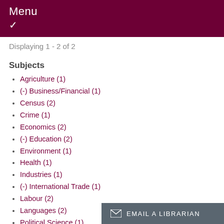Menu
Displaying 1 - 2 of 2
Subjects
Agriculture (1)
(-) Business/Financial (1)
Census (2)
Crime (1)
Economics (2)
(-) Education (2)
Environment (1)
Health (1)
Industries (1)
(-) International Trade (1)
Labour (2)
Languages (2)
Political Science (1)
Population and Demo…
Email a Librarian